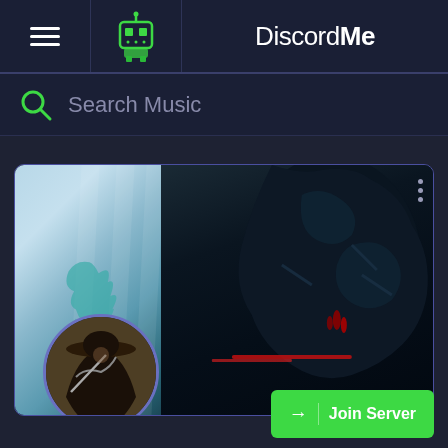[Figure (screenshot): DiscordMe website header with hamburger menu, robot bot icon, and DiscordMe brand name]
Search Music
[Figure (screenshot): Discord server card with a banner showing a teal ghostly figure on the left and a dark armored creature on the right, a circular avatar of a cloaked figure with sword, three-dot menu, and a green Join Server button]